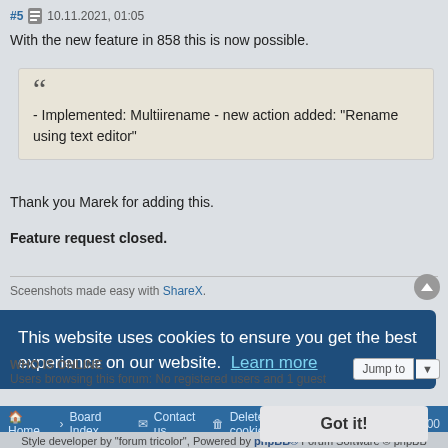#5  10.11.2021, 01:05
With the new feature in 858 this is now possible.
" - Implemented: Multiirename - new action added: "Rename using text editor"
Thank you Marek for adding this.
Feature request closed.
Sceenshots made easy with ShareX.
5 posts • Page 1 of 1
WHO IS ONLINE
Users browsing this forum: No registered users and 1 guest
This website uses cookies to ensure you get the best experience on our website.  Learn more
Got it!
Style developer by "forum tricolor", Powered by phpBB® Forum Software © phpBB Limited